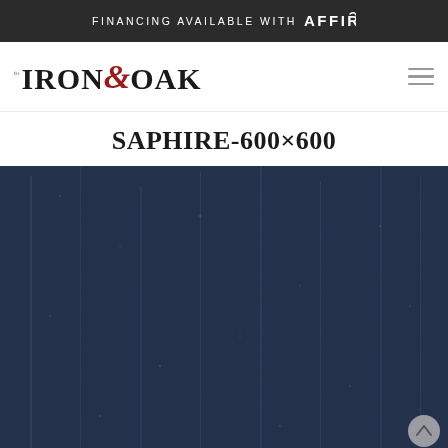FINANCING AVAILABLE WITH affirm
[Figure (logo): Iron & Oak logo with stylized ampersand in red]
SAPHIRE-600×600
[Figure (photo): Close-up photo of a dark navy/charcoal blue carpet texture with subtle fiber detail]